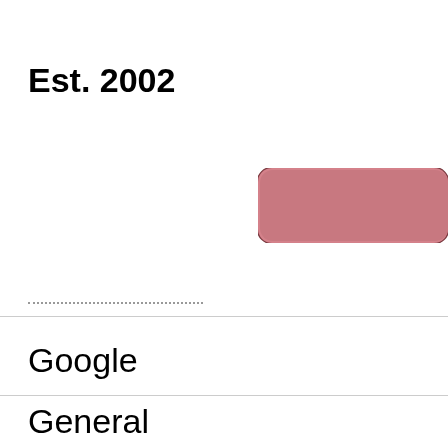Est. 2002
[Figure (other): A rounded pink/rose-colored rectangular button or badge, partially visible on the right side of the page]
Google
General